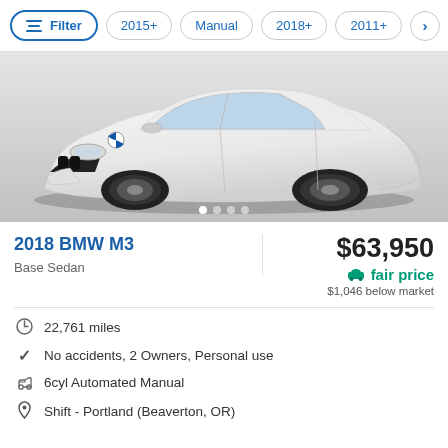Filter | 2015+ | Manual | 2018+ | 2011+
[Figure (photo): White 2018 BMW M3 sedan with black wheels, front three-quarter view on a gray gradient background. Pagination dots below image.]
2018 BMW M3
Base Sedan
$63,950
fair price
$1,046 below market
22,761 miles
No accidents, 2 Owners, Personal use
6cyl Automated Manual
Shift - Portland (Beaverton, OR)